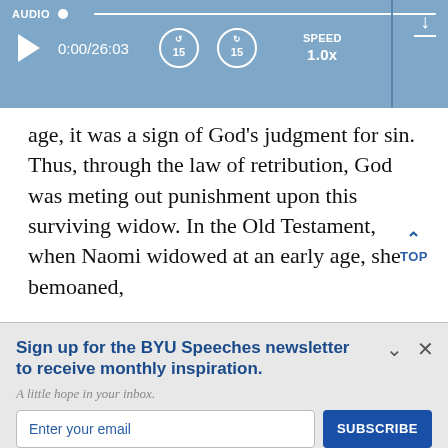AUDIO  0:00/26:03  SPEED 1.0x
age, it was a sign of God's judgment for sin. Thus, through the law of retribution, God was meting out punishment upon this surviving widow. In the Old Testament, when Naomi widowed at an early age, she bemoaned,
Sign up for the BYU Speeches newsletter to receive monthly inspiration.
A little hope in your inbox.
Enter your email
SUBSCRIBE